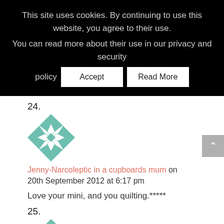This site uses cookies. By continuing to use this website, you agree to their use.
You can read more about their use in our privacy and security policy
Accept
Read More
24.
[Figure (illustration): Teal and white quilting pattern square with geometric star design]
Jenny-Narcoleptic in a cupboards mum on 20th September 2012 at 6:17 pm
Love your mini, and you quilting.*****
25.
[Figure (illustration): Teal and white quilting pattern square with geometric star design (partial)]